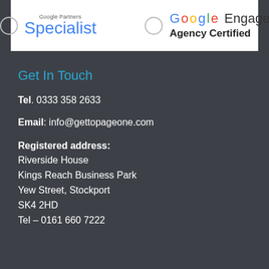[Figure (logo): Google Partners Specialist badge and Google Engage Agency Certified badge side by side in a white banner]
Get In Touch
Tel. 0333 358 2633
Email: info@gettopageone.com
Registered address:
Riverside House
Kings Reach Business Park
Yew Street, Stockport
SK4 2HD
Tel – 0161 660 7222